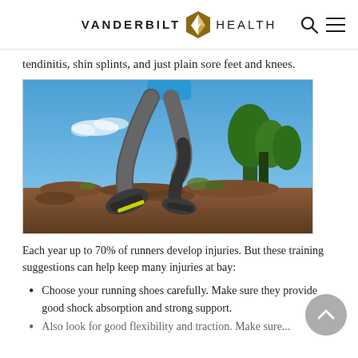VANDERBILT HEALTH
tendinitis, shin splints, and just plain sore feet and knees.
[Figure (photo): Low-angle photo of a runner mid-stride on a rocky trail with a blue sky and trees in background. Only the legs and shoes of the runner are visible, wearing grey pants and trail running shoes.]
Each year up to 70% of runners develop injuries. But these training suggestions can help keep many injuries at bay:
Choose your running shoes carefully. Make sure they provide good shock absorption and strong support.
Also look for good flexibility and traction. Make sure...